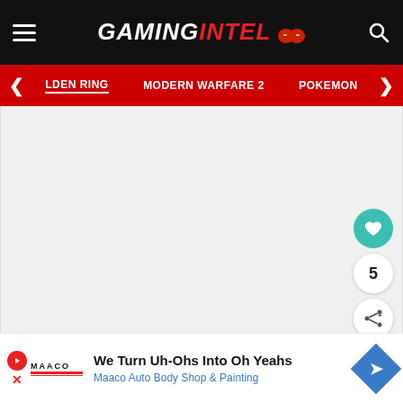GAMINGINTEL
ELDEN RING   MODERN WARFARE 2   POKEMON
[Figure (screenshot): Gray content area placeholder with white/light background, no visible image content]
5
B... ord of R...
We Turn Uh-Ohs Into Oh Yeahs
Maaco Auto Body Shop & Painting